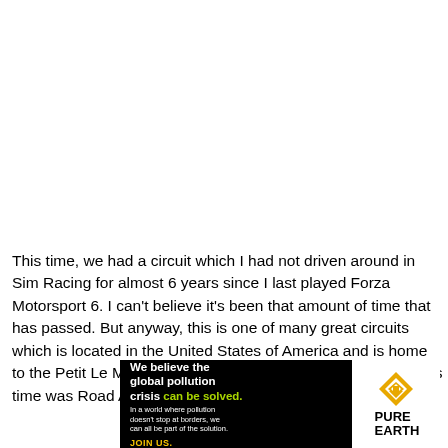This time, we had a circuit which I had not driven around in Sim Racing for almost 6 years since I last played Forza Motorsport 6. I can't believe it's been that amount of time that has passed. But anyway, this is one of many great circuits which is located in the United States of America and is home to the Petit Le Mans endurance race. The track in question this time was Road Atlanta!
[Figure (other): Advertisement banner for Pure Earth organization. Black background with white bold text 'We believe the global pollution crisis' with 'can be solved.' in green, alongside smaller white text about pollution not stopping at borders. Yellow 'JOIN US.' call to action. Pure Earth logo on white background on right side.]